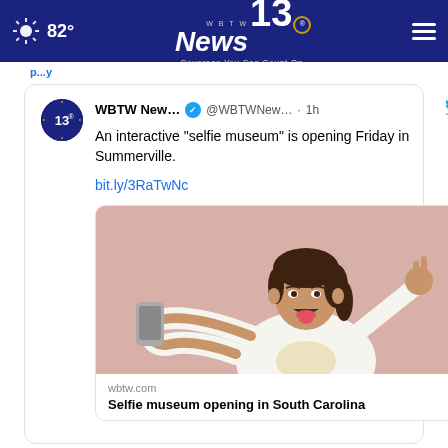82° WBTW News 13 Coverage You Can Count On.
WBTW New... @WBTWNew... · 1h  An interactive “selfie museum” is opening Friday in Summerville.

bit.ly/3RaTwNc
[Figure (photo): Young girl taking a selfie with a smartphone against a pink background, making a peace sign with her right hand and sticking out her tongue, wearing a white sweatshirt]
wbtw.com
Selfie museum opening in South Carolina